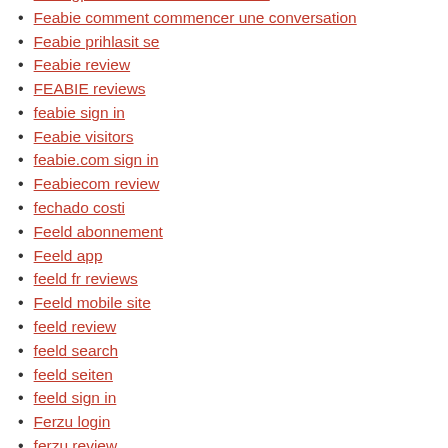fdatingpartnersuche.de Rezension
Feabie comment commencer une conversation
Feabie prihlasit se
Feabie review
FEABIE reviews
feabie sign in
Feabie visitors
feabie.com sign in
Feabiecom review
fechado costi
Feeld abonnement
Feeld app
feeld fr reviews
Feeld mobile site
feeld review
feeld search
feeld seiten
feeld sign in
Ferzu login
ferzu review
Ferzu reviews
Ferzu search
Ferzu visitors
FetishDateLink sign in
Fetlife best dating apps 2020